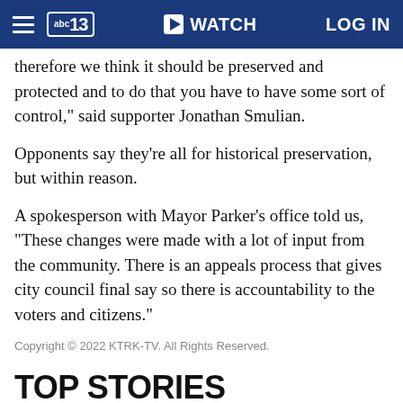abc13 WATCH LOG IN
therefore we think it should be preserved and protected and to do that you have to have some sort of control," said supporter Jonathan Smulian.
Opponents say they're all for historical preservation, but within reason.
A spokesperson with Mayor Parker's office told us, "These changes were made with a lot of input from the community. There is an appeals process that gives city council final say so there is accountability to the voters and citizens."
Copyright © 2022 KTRK-TV. All Rights Reserved.
TOP STORIES
ABC13 Weather Alert Day Sto...